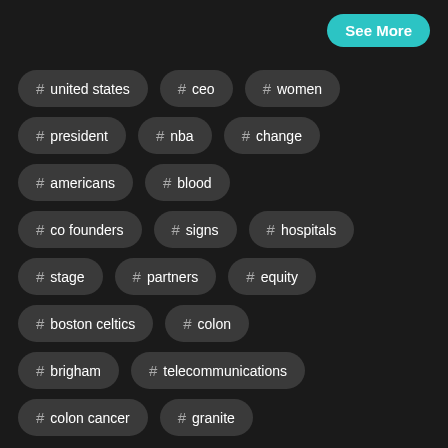See More
# united states
# ceo
# women
# president
# nba
# change
# americans
# blood
# co founders
# signs
# hospitals
# stage
# partners
# equity
# boston celtics
# colon
# brigham
# telecommunications
# colon cancer
# granite